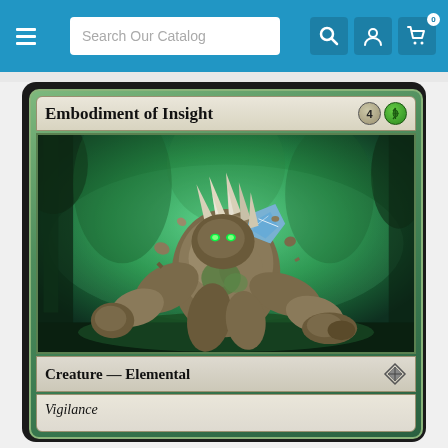Search Our Catalog
[Figure (illustration): Magic: The Gathering card 'Embodiment of Insight' - a large elemental creature made of stone, wood, and crystal charging through a forest. Card cost: 4G (4 generic + 1 green mana). Type: Creature — Elemental. Ability: Vigilance. Set symbol: Oath of the Gatewatch (diamond/triangle icon).]